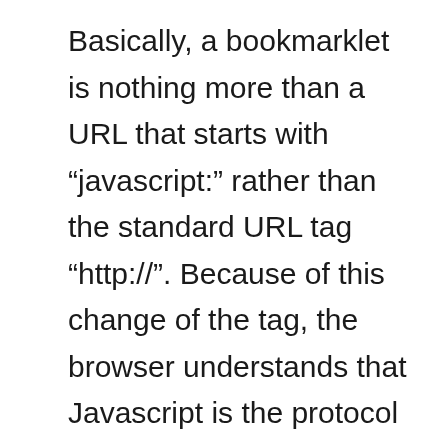Basically, a bookmarklet is nothing more than a URL that starts with “javascript:” rather than the standard URL tag “http://”. Because of this change of the tag, the browser understands that Javascript is the protocol to be used and it treats all of the strings of code that follow using Javascript code. When executed, the code will have access to the current page and will be free to carry out whatever it was designed to do. Notice that bookmarklets do not work on web pages using the https: protocol.